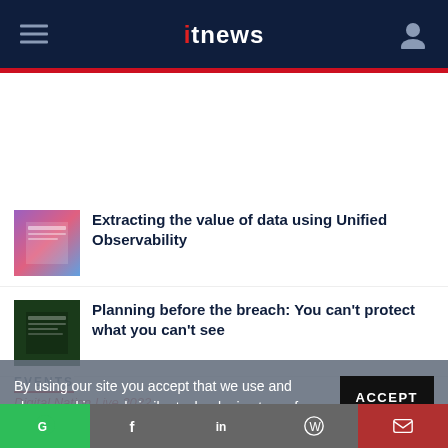itnews
Extracting the value of data using Unified Observability
Planning before the breach: You can't protect what you can't see
EVENTS
Digital Nation Live 2022
Forrester Technology & Innovation Asia Pacific 2022
By using our site you accept that we use and share cookies and similar technologies to perform analytics and provide content and ads tailored to your interests. By continuing to use our site, you consent to this. Please see our Cookie Policy for more information.